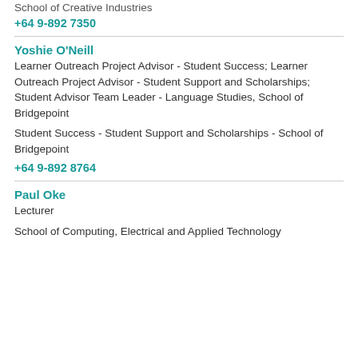School of Creative Industries
+64 9-892 7350
Yoshie O'Neill
Learner Outreach Project Advisor - Student Success; Learner Outreach Project Advisor - Student Support and Scholarships; Student Advisor Team Leader - Language Studies, School of Bridgepoint
Student Success - Student Support and Scholarships - School of Bridgepoint
+64 9-892 8764
Paul Oke
Lecturer
School of Computing, Electrical and Applied Technology